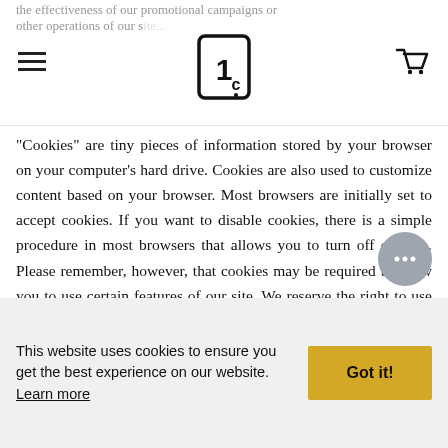[hamburger menu] [1ic logo] [cart icon]
"Cookies" are tiny pieces of information stored by your browser on your computer's hard drive. Cookies are also used to customize content based on your browser. Most browsers are initially set to accept cookies. If you want to disable cookies, there is a simple procedure in most browsers that allows you to turn off cookies. Please remember, however, that cookies may be required to allow you to use certain features of our site. We reserve the right to use third party web analytics services that use third party cookies (cookies passed by them, not by us) to collect Non-Personal Information about e
This website uses cookies to ensure you get the best experience on our website. Learn more
Got it!